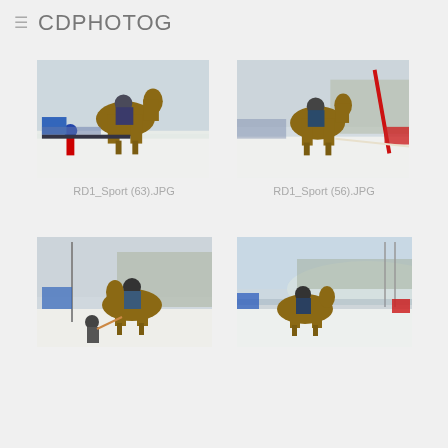CDPHOTOG
[Figure (photo): Horse with rider pulling a skier through snowy course, crowd in background, winter sport event]
RD1_Sport (63).JPG
[Figure (photo): Horse with rider at snowy event, red banner visible, crowd watching, winter sport]
RD1_Sport (56).JPG
[Figure (photo): Rider on horse with person on ground, winter sport event, snowy field]
[Figure (photo): Wide shot of snowy event grounds with horse and rider, crowd and trees in background]